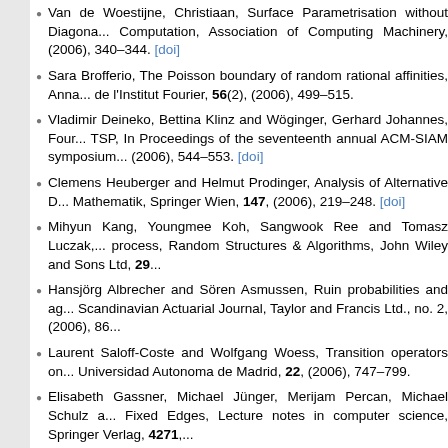Van de Woestijne, Christiaan, Surface Parametrisation without Diagonal... Computation, Association of Computing Machinery, (2006), 340–344. [doi]
Sara Brofferio, The Poisson boundary of random rational affinities, Anna... de l'Institut Fourier, 56(2), (2006), 499–515.
Vladimir Deineko, Bettina Klinz and Wöginger, Gerhard Johannes, Four... TSP, In Proceedings of the seventeenth annual ACM-SIAM symposium... (2006), 544–553. [doi]
Clemens Heuberger and Helmut Prodinger, Analysis of Alternative D... Mathematik, Springer Wien, 147, (2006), 219–248. [doi]
Mihyun Kang, Youngmee Koh, Sangwook Ree and Tomasz Luczak,... process, Random Structures & Algorithms, John Wiley and Sons Ltd, 29...
Hansjörg Albrecher and Sören Asmussen, Ruin probabilities and ag... Scandinavian Actuarial Journal, Taylor and Francis Ltd., no. 2, (2006), 86...
Laurent Saloff-Coste and Wolfgang Woess, Transition operators on... Universidad Autonoma de Madrid, 22, (2006), 747–799.
Elisabeth Gassner, Michael Jünger, Merijam Percan, Michael Schulz a... Fixed Edges, Lecture notes in computer science, Springer Verlag, 4271,...
Van de Woestijne, Christiaan, Deterministic Equation Solving over Finite...
Burkard, Rainer Ernst and Johannes Hatzl, A complex time based const... industry, European Journal of Operational Research, Elsevier B.V., 174(...
Manuel Bodirsky and Mihyun Kang, Generating outerplanar graphs u... Cambridge University Press, 15(3), (2006), 333–343. [doi]
Elisabeth Gassner and Sven Krumke, Deterministic Online Optical Call... Springer, 3879, (2006), 190–202. [doi]
Hansjörg Albrecher and J. Hartinger, On the non-optimality of horiz...